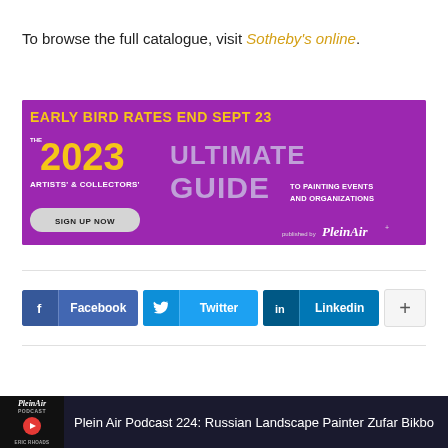To browse the full catalogue, visit Sotheby's online.
[Figure (infographic): Advertisement banner with purple background: 'EARLY BIRD RATES END SEPT 23' in yellow bold text. The 2023 Ultimate Artists' & Collectors' Guide to Painting Events and Organizations. Sign Up Now button. Published by PleinAir.]
[Figure (infographic): Social sharing buttons: Facebook, Twitter, Linkedin, and a plus/more button]
[Figure (infographic): Footer bar: PleinAir Podcast logo on left, text 'Plein Air Podcast 224: Russian Landscape Painter Zufar Bikbo']